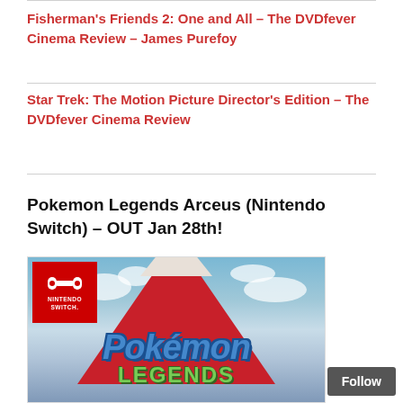Fisherman's Friends 2: One and All – The DVDfever Cinema Review – James Purefoy
Star Trek: The Motion Picture Director's Edition – The DVDfever Cinema Review
Pokemon Legends Arceus (Nintendo Switch) – OUT Jan 28th!
[Figure (photo): Nintendo Switch game box cover for Pokemon Legends Arceus, showing the game title with a mountain and sky background, and the Nintendo Switch logo in the top-left corner]